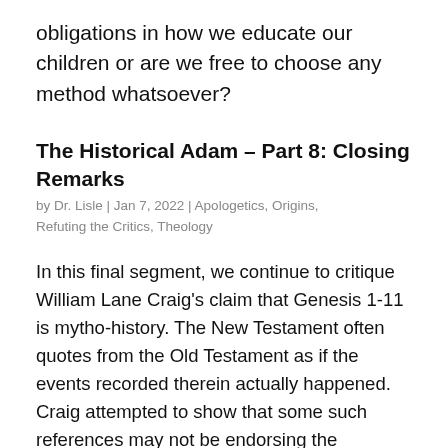obligations in how we educate our children or are we free to choose any method whatsoever?
The Historical Adam – Part 8: Closing Remarks
by Dr. Lisle | Jan 7, 2022 | Apologetics, Origins, Refuting the Critics, Theology
In this final segment, we continue to critique William Lane Craig's claim that Genesis 1-11 is mytho-history. The New Testament often quotes from the Old Testament as if the events recorded therein actually happened. Craig attempted to show that some such references may not be endorsing the historicity of such events, but merely using them as literary illustrations. However, none of the examples he provided suggested anything other than a